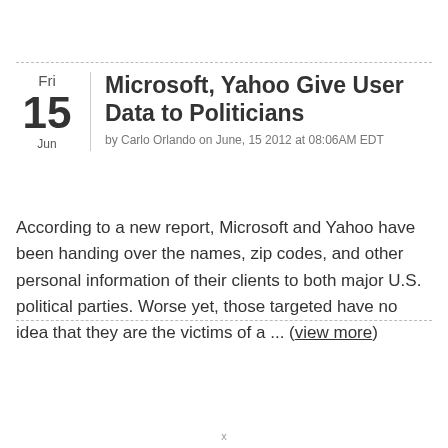Microsoft, Yahoo Give User Data to Politicians
by Carlo Orlando on June, 15 2012 at 08:06AM EDT
According to a new report, Microsoft and Yahoo have been handing over the names, zip codes, and other personal information of their clients to both major U.S. political parties. Worse yet, those targeted have no idea that they are the victims of a ... (view more)
x